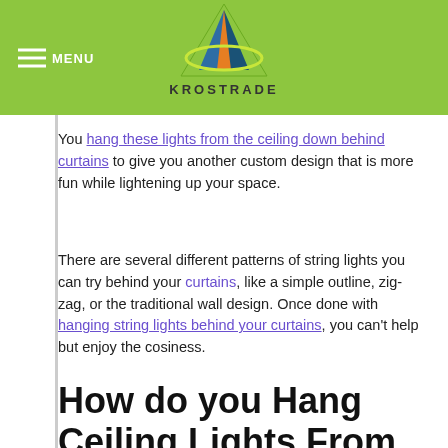MENU | KROSTRADE
You hang these lights from the ceiling down behind curtains to give you another custom design that is more fun while lightening up your space.
There are several different patterns of string lights you can try behind your curtains, like a simple outline, zig-zag, or the traditional wall design. Once done with hanging string lights behind your curtains, you can't help but enjoy the cosiness.
How do you Hang Ceiling Lights From Curtains?
Install curtain hooks around the edge of your ceiling at an